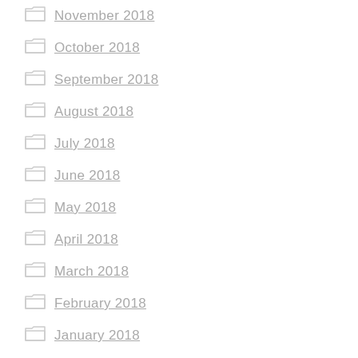November 2018
October 2018
September 2018
August 2018
July 2018
June 2018
May 2018
April 2018
March 2018
February 2018
January 2018
November 2017
October 2017